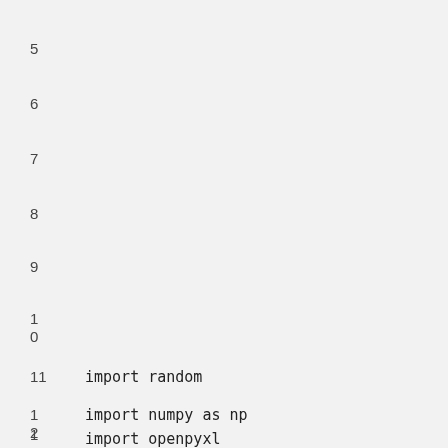5
6
7
8
9
1
0
11    import random
1
2    import numpy as np

     import openpyxl
1
3    from sklearn.datasets import fetch_openml